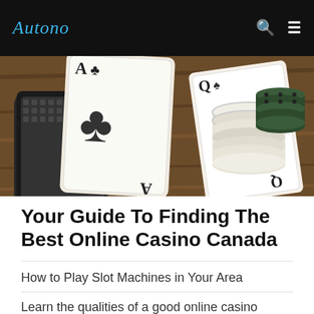Autono
[Figure (photo): Casino cards (Ace of clubs and another card) laid on a wooden table with poker chips stacked in the background]
Your Guide To Finding The Best Online Casino Canada
How to Play Slot Machines in Your Area
Learn the qualities of a good online casino